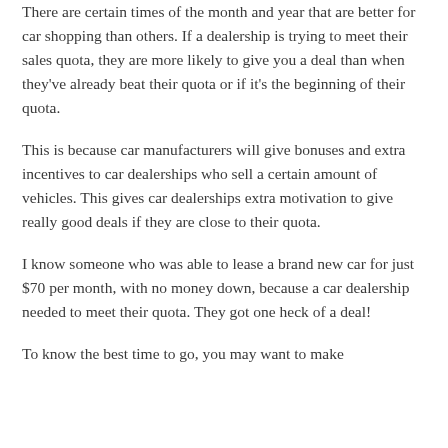There are certain times of the month and year that are better for car shopping than others. If a dealership is trying to meet their sales quota, they are more likely to give you a deal than when they've already beat their quota or if it's the beginning of their quota.
This is because car manufacturers will give bonuses and extra incentives to car dealerships who sell a certain amount of vehicles. This gives car dealerships extra motivation to give really good deals if they are close to their quota.
I know someone who was able to lease a brand new car for just $70 per month, with no money down, because a car dealership needed to meet their quota. They got one heck of a deal!
To know the best time to go, you may want to make